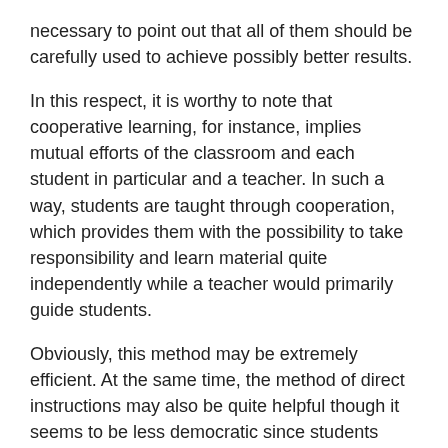necessary to point out that all of them should be carefully used to achieve possibly better results.
In this respect, it is worthy to note that cooperative learning, for instance, implies mutual efforts of the classroom and each student in particular and a teacher. In such a way, students are taught through cooperation, which provides them with the possibility to take responsibility and learn material quite independently while a teacher would primarily guide students.
Obviously, this method may be extremely efficient. At the same time, the method of direct instructions may also be quite helpful though it seems to be less democratic since students initially receive instructions they would follow and not cooperate as in the previous method. As a result, it is necessary to pay particular attention to the proper implementation of the method of direct instructions. In this respect, it is possible to recommend primarily to stimulate the interest of students. Then it is necessary to inform students about the main goal of the task they are supposed to do. After